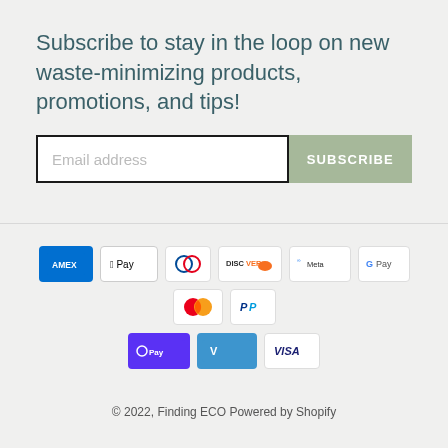Subscribe to stay in the loop on new waste-minimizing products, promotions, and tips!
[Figure (screenshot): Email subscription form with an email address input field and a SUBSCRIBE button]
[Figure (infographic): Payment method icons: American Express, Apple Pay, Diners Club, Discover, Meta Pay, Google Pay, Mastercard, PayPal, Shop Pay, Venmo, Visa]
© 2022, Finding ECO Powered by Shopify